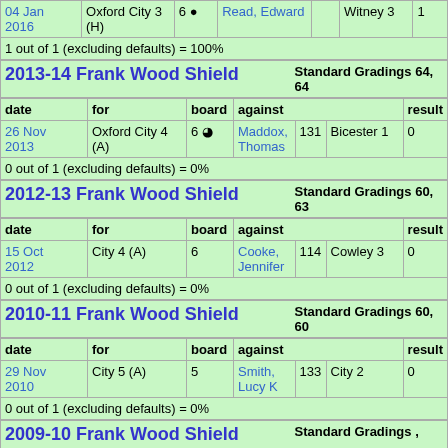| date | for | board | against |  |  | result |
| --- | --- | --- | --- | --- | --- | --- |
| 04 Jan 2016 | Oxford City 3 (H) | 6 ● | Read, Edward |  | Witney 3 | 1 |
| 1 out of 1 (excluding defaults) = 100% |  |  |  |  |  |  |
2013-14 Frank Wood Shield | Standard Gradings 64, 64
| date | for | board | against |  |  | result |
| --- | --- | --- | --- | --- | --- | --- |
| 26 Nov 2013 | Oxford City 4 (A) | 6 ☁ | Maddox, Thomas | 131 | Bicester 1 | 0 |
| 0 out of 1 (excluding defaults) = 0% |  |  |  |  |  |  |
2012-13 Frank Wood Shield | Standard Gradings 60, 63
| date | for | board | against |  |  | result |
| --- | --- | --- | --- | --- | --- | --- |
| 15 Oct 2012 | City 4 (A) | 6 | Cooke, Jennifer | 114 | Cowley 3 | 0 |
| 0 out of 1 (excluding defaults) = 0% |  |  |  |  |  |  |
2010-11 Frank Wood Shield | Standard Gradings 60, 60
| date | for | board | against |  |  | result |
| --- | --- | --- | --- | --- | --- | --- |
| 29 Nov 2010 | City 5 (A) | 5 | Smith, Lucy K | 133 | City 2 | 0 |
| 0 out of 1 (excluding defaults) = 0% |  |  |  |  |  |  |
2009-10 Frank Wood Shield | Standard Gradings ,